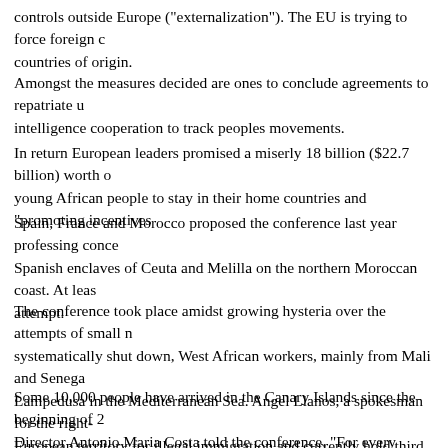controls outside Europe ("externalization"). The EU is trying to force foreign countries of origin.
Amongst the measures decided are ones to conclude agreements to repatriate intelligence cooperation to track peoples movements.
In return European leaders promised a miserly 18 billion ($22.7 billion) worth young African people to stay in their home countries and "promoting incentives
Spain, France and Morocco proposed the conference last year professing conce Spanish enclaves of Ceuta and Melilla on the northern Moroccan coast. At leas attempt.
The conference took place amidst growing hysteria over the attempts of small n systematically shut down, West African workers, mainly from Mali and Senega Lampedusa in the Mediterranean Sea. Angel Llanos, a spokesman for the right- European territory for illegal immigration and currently hold third place in the
Some 10,000 people have arrived in the Canary Islands since the beginning of Director Antonio Maria Costa told the conference, "For every person who reach the Sahara, who are left penniless in transit countries far from home, who drow